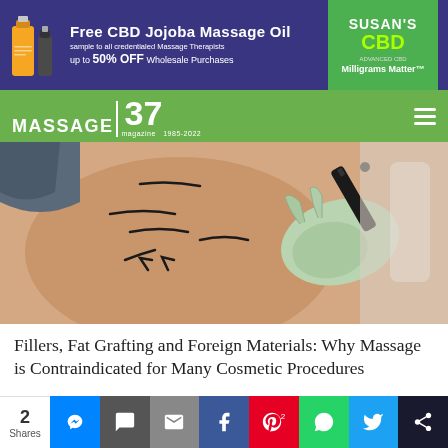[Figure (infographic): Advertisement banner for Susan's CBD - Free CBD Jojoba Massage Oil, sample to all credentialed Massage Therapists, up to 50% OFF Wholesale Purchases. Green logo panel on right with 'SUSAN'S CBD, Milligrams Matter'.]
[Figure (screenshot): Massage Magazine navigation bar showing 'MASSAGE 37 magazine' logo on green background with hamburger menu icon.]
[Figure (photo): A gloved hand drawing surgical marker lines on a person's body (hip/torso area), marking areas for a cosmetic procedure.]
Fillers, Fat Grafting and Foreign Materials: Why Massage is Contraindicated for Many Cosmetic Procedures
[Figure (infographic): Social share bar showing 2 Shares with icons for Messenger, Chat, Email, Facebook, Pinterest, WhatsApp, Twitter, and More.]